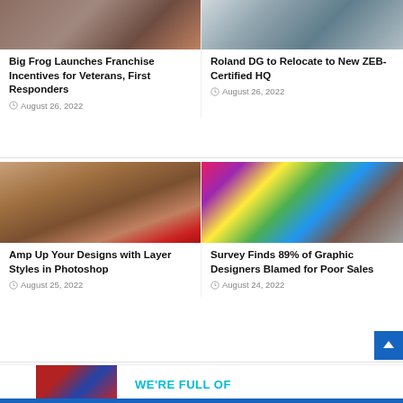[Figure (photo): Two people standing, appears to be in a workshop or store setting]
Big Frog Launches Franchise Incentives for Veterans, First Responders
August 26, 2022
[Figure (photo): Modern building exterior with parking lot and road]
Roland DG to Relocate to New ZEB-Certified HQ
August 26, 2022
[Figure (photo): Close-up of a dog with a decorative 'Great' text overlay in red script]
Amp Up Your Designs with Layer Styles in Photoshop
August 25, 2022
[Figure (photo): Woman working at a computer with color swatches on monitor, using a graphics tablet]
Survey Finds 89% of Graphic Designers Blamed for Poor Sales
August 24, 2022
WE'RE FULL OF